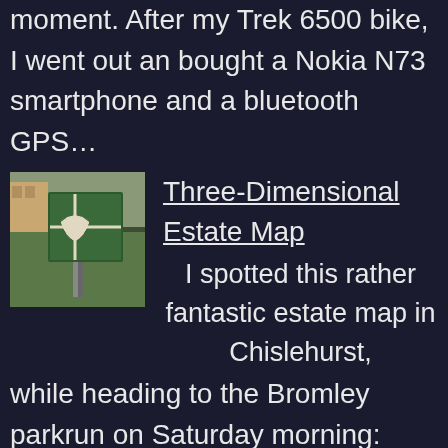moment. After my Trek 6500 bike, I went out an bought a Nokia N73 smartphone and a bluetooth GPS…
[Figure (photo): Photograph of a three-dimensional estate map sign outdoors in Chislehurst, showing a green and white sculptural map of a housing estate.]
Three-Dimensional Estate Map
I spotted this rather fantastic estate map in Chislehurst, while heading to the Bromley parkrun on Saturday morning:
Map of Maps
This is my big idea. BOF has been building up a national registration of club maps from around the country - but there exists no big